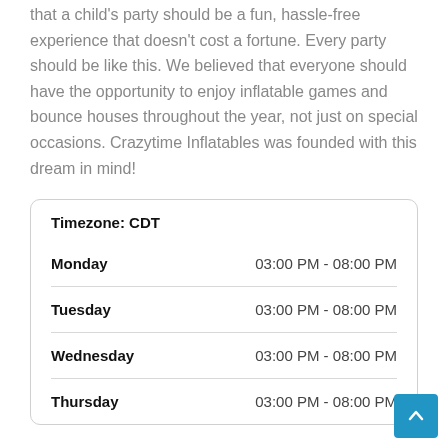that a child's party should be a fun, hassle-free experience that doesn't cost a fortune. Every party should be like this. We believed that everyone should have the opportunity to enjoy inflatable games and bounce houses throughout the year, not just on special occasions. Crazytime Inflatables was founded with this dream in mind!
| Day | Hours |
| --- | --- |
| Monday | 03:00 PM - 08:00 PM |
| Tuesday | 03:00 PM - 08:00 PM |
| Wednesday | 03:00 PM - 08:00 PM |
| Thursday | 03:00 PM - 08:00 PM |